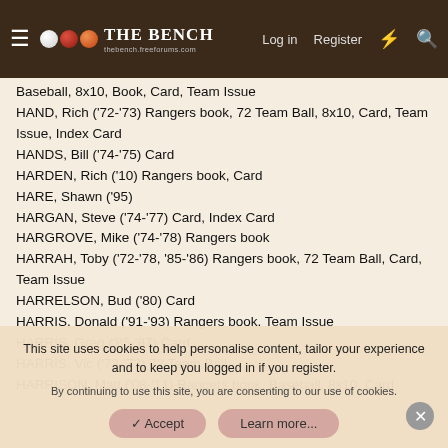THE BENCH - thebench.freeforums.com
Baseball, 8x10, Book, Card, Team Issue
HAND, Rich ('72-'73) Rangers book, 72 Team Ball, 8x10, Card, Team Issue, Index Card
HANDS, Bill ('74-'75) Card
HARDEN, Rich ('10) Rangers book, Card
HARE, Shawn ('95)
HARGAN, Steve ('74-'77) Card, Index Card
HARGROVE, Mike ('74-'78) Rangers book
HARRAH, Toby ('72-'78, '85-'86) Rangers book, 72 Team Ball, Card, Team Issue
HARRELSON, Bud ('80) Card
HARRIS, Donald ('91-'93) Rangers book, Team Issue
HARRIS, Greg ('85-'87) Card
HARRIS, Vic ('72-'73) 72 Team Ball
HARRISON, Matt ('08-'11) Rangers book, Baseball, 8x10, Card
This site uses cookies to help personalise content, tailor your experience and to keep you logged in if you register. By continuing to use this site, you are consenting to our use of cookies.